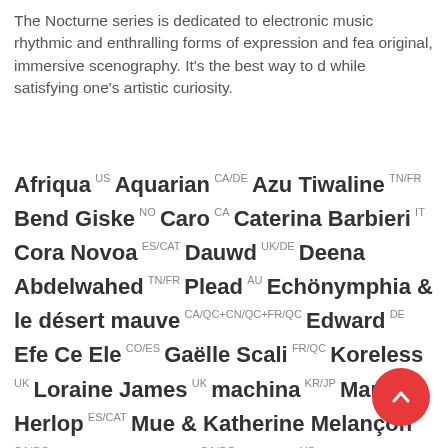The Nocturne series is dedicated to electronic music rhythmic and enthralling forms of expression and features original, immersive scenography. It's the best way to dance while satisfying one's artistic curiosity.
Afriqua US Aquarian CA/DE Azu Tiwaline TN/FR Bend Giske NO Caro CA Caterina Barbieri IT Cora Novoa ES/CAT Dauwd UK/DE Deena Abdelwahed TN/FR Plead AU Echönymphia & le désert mauve CA/QC+CN/QC+FR/QC Edward DE Efe Ce Ele CO/ES Gaëlle Scali FR/QC Koreless UK Loraine James UK machina KR/JP Marina Herlop ES/CAT Mue & Katherine Melançon CA/QC Myriam Bleau CA/QC N/UM US Nicola Cruz EC Nicolas Bougaïeff CA/DE Parts Project CA/QC Planetary Assault Systems UK Powder JP RAMZi CA/QC Smerz NO Total Sublime CA/QC Whatever The Weather UK